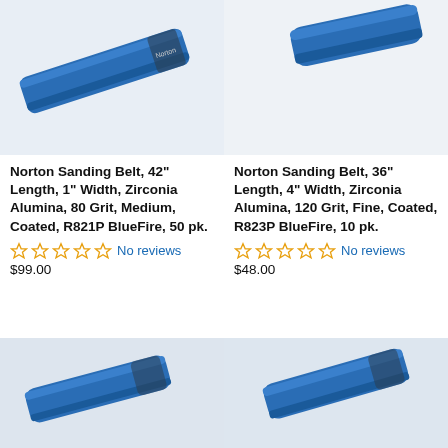[Figure (photo): Blue Norton sanding belt, top-left product image, belt shown diagonally]
Norton Sanding Belt, 42" Length, 1" Width, Zirconia Alumina, 80 Grit, Medium, Coated, R821P BlueFire, 50 pk.
No reviews
$99.00
[Figure (photo): Blue Norton sanding belt, top-right product image, partial belt shown]
Norton Sanding Belt, 36" Length, 4" Width, Zirconia Alumina, 120 Grit, Fine, Coated, R823P BlueFire, 10 pk.
No reviews
$48.00
[Figure (photo): Blue Norton sanding belt, bottom-left product image, partial belt visible]
[Figure (photo): Blue Norton sanding belt, bottom-right product image, partial belt visible]